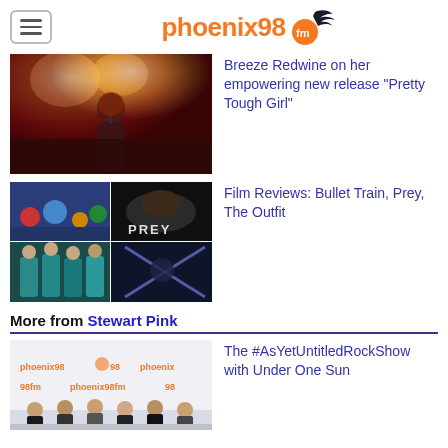[Figure (logo): Phoenix 98FM logo with orange text and bird graphic]
[Figure (photo): Woman with red hair on stage under dramatic red lighting, likely Breeze Redwine]
Breeze Redwine on her empowering new release “Pretty Tough Girl”
[Figure (photo): Four-image grid showing Bullet Train, Prey, and The Outfit film posters]
Film Reviews: Bullet Train, Prey, The Outfit
More from Stewart Pink
[Figure (photo): Group of men standing in front of Phoenix 98FM branded backdrop, for #AsYetUntitledRockShow with Under One Sun]
The #AsYetUntitledRockShow with Under One Sun